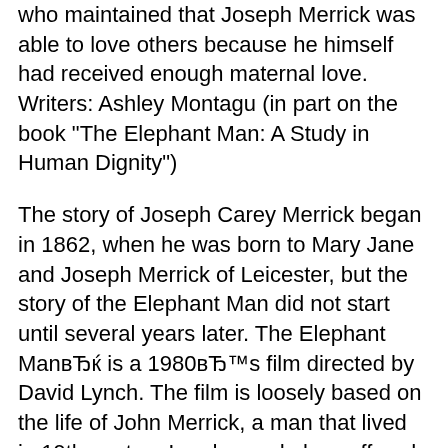who maintained that Joseph Merrick was able to love others because he himself had received enough maternal love. Writers: Ashley Montagu (in part on the book "The Elephant Man: A Study in Human Dignity")
The story of Joseph Carey Merrick began in 1862, when he was born to Mary Jane and Joseph Merrick of Leicester, but the story of the Elephant Man did not start until several years later. The Elephant ManвЂќ is a 1980вЂ™s film directed by David Lynch. The film is loosely based on the life of John Merrick, a man that lived in 19th century London and also suffered from severe deformities that plagued his body.